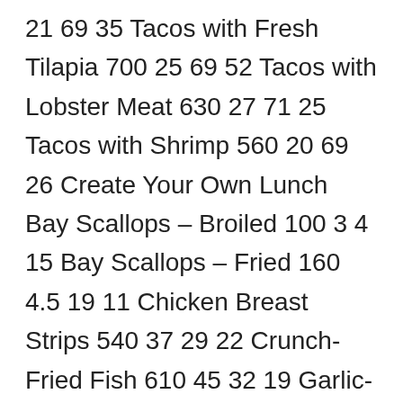21 69 35 Tacos with Fresh Tilapia 700 25 69 52 Tacos with Lobster Meat 630 27 71 25 Tacos with Shrimp 560 20 69 26 Create Your Own Lunch Bay Scallops – Broiled 100 3 4 15 Bay Scallops – Fried 160 4.5 19 11 Chicken Breast Strips 540 37 29 22 Crunch-Fried Fish 610 45 32 19 Garlic-Grilled Shrimp Skewer 190 5 26 10 Garlic Shrimp Scampi 150 10 2 12 Hand-Breaded Shrimp 200 8 20 12 Lightly Breaded Clam Strips 560 40 39 11 Batterfried Crawfish* 510 32 37 18 Canadian Walleye* Batterfried 590 37 26 38 Blackened 220 4.5 2 41 Broiled 210 4 0 40 Golden-Fried 290 15 6